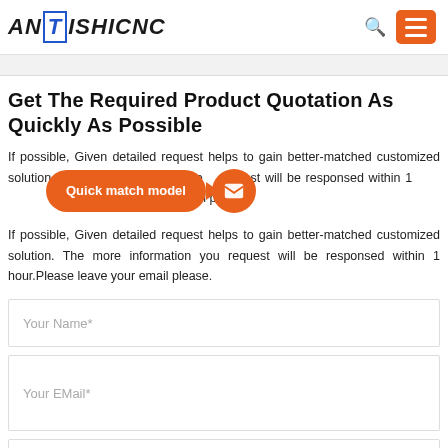[Figure (logo): ANTISHICNC logo in bold italic text with T highlighted in blue box]
Get The Required Product Quotation As Quickly As Possible
If possible, Given detailed request helps to gain better-matched customized solution. The more information you request will be responsed within 1 hour.Please leave your email please.
[Figure (infographic): Orange tooltip bubble with text 'Quick match model' and arrow pointing to orange circle with email/envelope icon]
Your Name*
Your EMail*
Your Phone Number